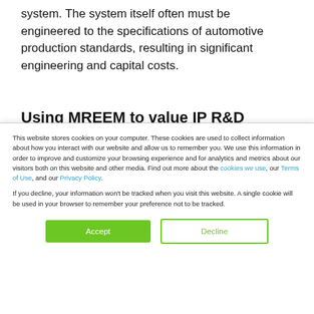system. The system itself often must be engineered to the specifications of automotive production standards, resulting in significant engineering and capital costs.
Using MREEM to value IP R&D
This website stores cookies on your computer. These cookies are used to collect information about how you interact with our website and allow us to remember you. We use this information in order to improve and customize your browsing experience and for analytics and metrics about our visitors both on this website and other media. Find out more about the cookies we use, our Terms of Use, and our Privacy Policy.

If you decline, your information won't be tracked when you visit this website. A single cookie will be used in your browser to remember your preference not to be tracked.